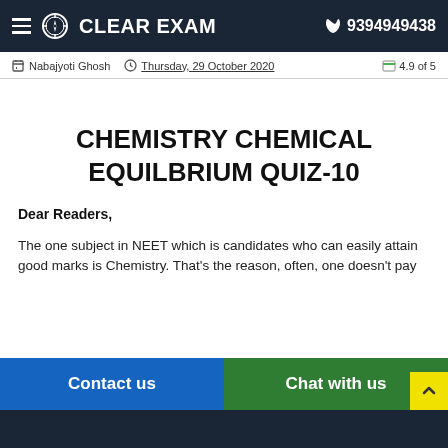☰ ✦ CLEAR EXAM  📞 9394949438
✎ Nabajyoti Ghosh  🕐 Thursday, 29 October 2020  🖼 4.9 of 5
CHEMISTRY CHEMICAL EQUILBRIUM QUIZ-10
Dear Readers,
The one subject in NEET which is candidates who can easily attain good marks is Chemistry. That's the reason, often, one doesn't pay
Contact us   Chat with us